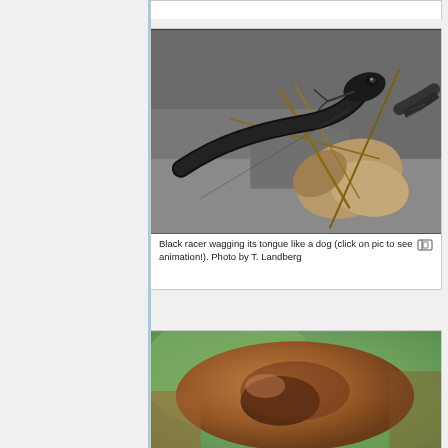[Figure (photo): Close-up photo of a black racer snake with forked tongue extended, surrounded by dried leaves and twigs on a concrete/stone surface]
Black racer wagging its tongue like a dog (click on pic to see animation!). Photo by T. Landberg
[Figure (photo): Close-up macro photo of what appears to be a reptile or animal tongue/body part, blurred background of green]